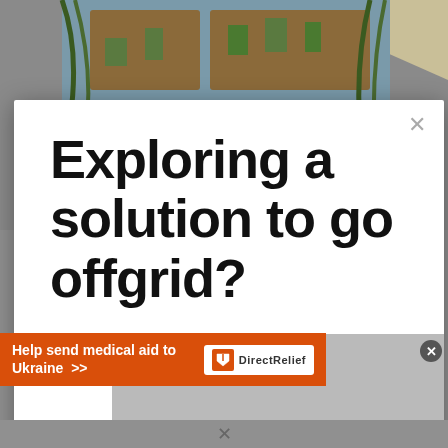[Figure (photo): Outdoor garden patio with wooden furniture, wall-mounted planters, blue fence, climbing plants, and a beige shade sail canopy]
Exploring a solution to go offgrid?
[Figure (screenshot): Video player overlay showing 'No compatible source was found for this media.' error message with Coming Soon text]
Help send medical aid to Ukraine >> Direct Relief